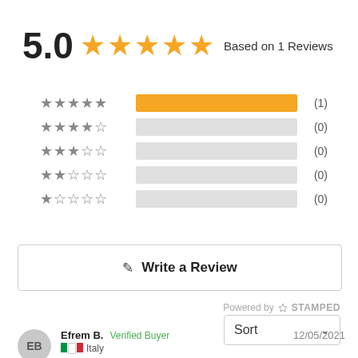5.0 ★★★★★ Based on 1 Reviews
[Figure (infographic): Rating breakdown bars: 5 stars (1), 4 stars (0), 3 stars (0), 2 stars (0), 1 star (0)]
✎ Write a Review
Powered by ✦ STAMPED
Sort
Efrem B. Verified Buyer 12/05/2021
Italy